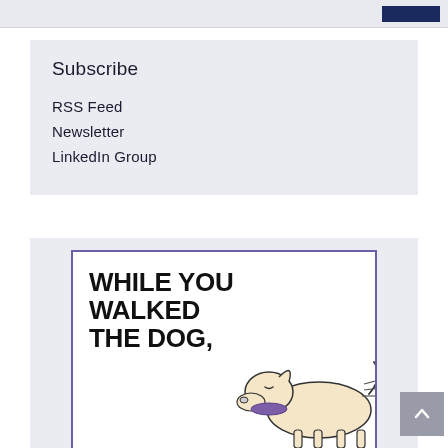Subscribe
RSS Feed
Newsletter
LinkedIn Group
[Figure (illustration): Advertisement illustration showing bold text 'WHILE YOU WALKED THE DOG,' with a cartoon dog drawing on the right side, bordered with a purple/violet frame.]